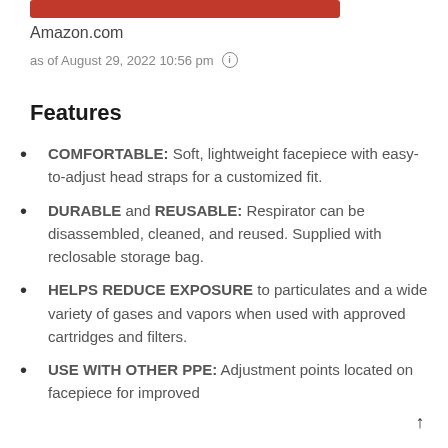[Figure (other): Red banner/bar at top of product listing]
Amazon.com
as of August 29, 2022 10:56 pm ℹ
Features
COMFORTABLE: Soft, lightweight facepiece with easy-to-adjust head straps for a customized fit.
DURABLE and REUSABLE: Respirator can be disassembled, cleaned, and reused. Supplied with reclosable storage bag.
HELPS REDUCE EXPOSURE to particulates and a wide variety of gases and vapors when used with approved cartridges and filters.
USE WITH OTHER PPE: Adjustment points located on facepiece for improved